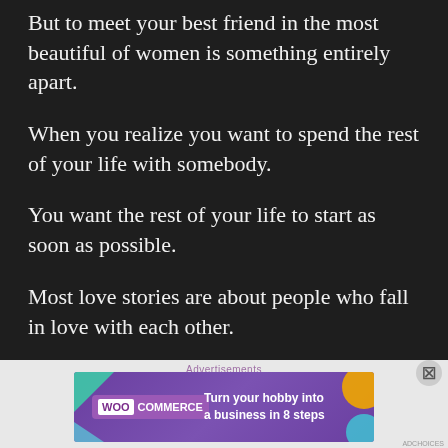But to meet your best friend in the most beautiful of women is something entirely apart.
When you realize you want to spend the rest of your life with somebody.
You want the rest of your life to start as soon as possible.
Most love stories are about people who fall in love with each other.
But what about the rest of us?
[Figure (other): WooCommerce advertisement banner: 'Turn your hobby into a business in 8 steps' with decorative colored shapes on purple background]